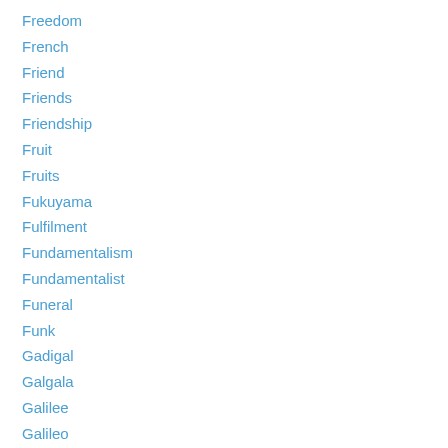Freedom
French
Friend
Friends
Friendship
Fruit
Fruits
Fukuyama
Fulfilment
Fundamentalism
Fundamentalist
Funeral
Funk
Gadigal
Galgala
Galilee
Galileo
Game
Garden
Gary Deverell